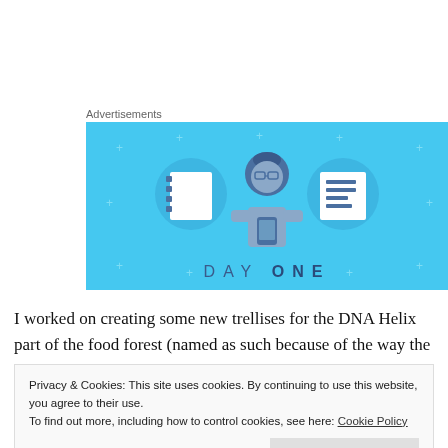Advertisements
[Figure (illustration): Day One app advertisement banner with blue background showing a illustrated person holding a phone between two notebook icons, with text 'DAY ONE' at the bottom]
I worked on creating some new trellises for the DNA Helix part of the food forest (named as such because of the way the irrigation pipes criss
Privacy & Cookies: This site uses cookies. By continuing to use this website, you agree to their use.
To find out more, including how to control cookies, see here: Cookie Policy
Close and accept